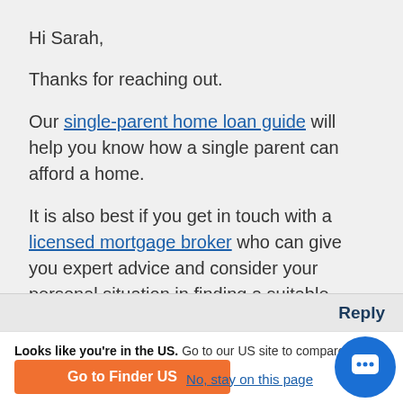Hi Sarah,
Thanks for reaching out.
Our single-parent home loan guide will help you know how a single parent can afford a home.
It is also best if you get in touch with a licensed mortgage broker who can give you expert advice and consider your personal situation in finding a suitable home loan product.
Cheers,
Anndy
Reply
Looks like you're in the US. Go to our US site to compare rele products for your country.
Go to Finder US
No, stay on this page